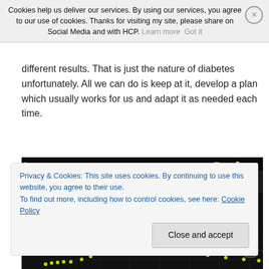Cookies help us deliver our services. By using our services, you agree to our use of cookies. Thanks for visiting my site, please share on Social Media and with HCP. Learn more  Got it
different results. That is just the nature of diabetes unfortunately. All we can do is keep at it, develop a plan which usually works for us and adapt it as needed each time.
[Figure (screenshot): xDrip+ Android app screenshot showing CGM glucose reading of 5.8 mmol/l with arrow, 3 Minutes ago, +0.01 mmol/l, Avg:6.8 A1c:5.9% in 95% sd:1.2 Cap:83%, time 17:56, battery 47%, glucose graph with green dots and red line at 8]
Privacy & Cookies: This site uses cookies. By continuing to use this website, you agree to their use.
To find out more, including how to control cookies, see here: Cookie Policy
Close and accept